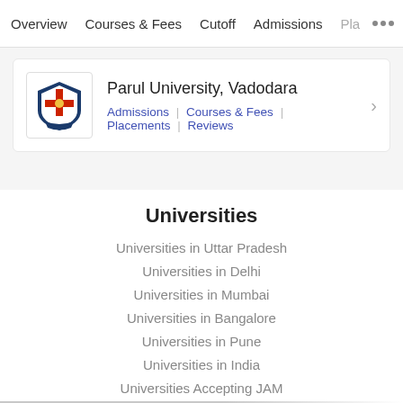Overview | Courses & Fees | Cutoff | Admissions | Pla...
[Figure (logo): Parul University crest/logo]
Parul University, Vadodara
Admissions | Courses & Fees | Placements | Reviews
Universities
Universities in Uttar Pradesh
Universities in Delhi
Universities in Mumbai
Universities in Bangalore
Universities in Pune
Universities in India
Universities Accepting JAM
Download Brochure
Download Fee Structure